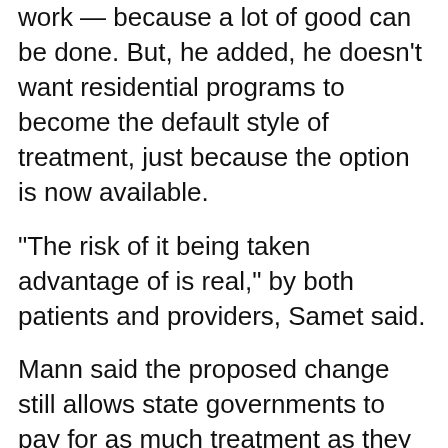work — because a lot of good can be done. But, he added, he doesn't want residential programs to become the default style of treatment, just because the option is now available.
“The risk of it being taken advantage of is real,” by both patients and providers, Samet said.
Mann said the proposed change still allows state governments to pay for as much treatment as they think a patient needs — just as they have been doing all along.
“The state and the locals are completely free to finance that stay if they think it’s the right place for somebody to be,” she said.
And if they’re still not happy, she added, states can put together innovative treatment